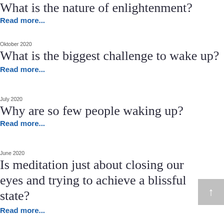What is the nature of enlightenment?
Read more...
Oktober 2020
What is the biggest challenge to wake up?
Read more...
July 2020
Why are so few people waking up?
Read more...
June 2020
Is meditation just about closing our eyes and trying to achieve a blissful state?
Read more...